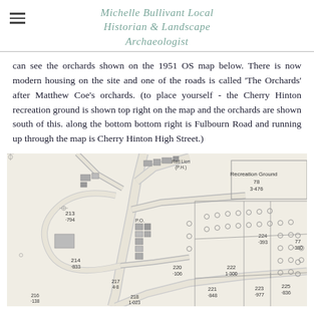Michelle Bullivant Local Historian & Landscape Archaeologist
can see the orchards shown on the 1951 OS map below. There is now modern housing on the site and one of the roads is called 'The Orchards' after Matthew Coe's orchards. (to place yourself - the Cherry Hinton recreation ground is shown top right on the map and the orchards are shown south of this. along the bottom right is Fulbourn Road and running up through the map is Cherry Hinton High Street.)
[Figure (map): 1951 OS map extract showing Cherry Hinton area with Recreation Ground (parcel 78, 3.476 acres), parcels 213-225, roads including Fulbourn Road and Cherry Hinton High Street, with orchard areas marked south of the recreation ground.]